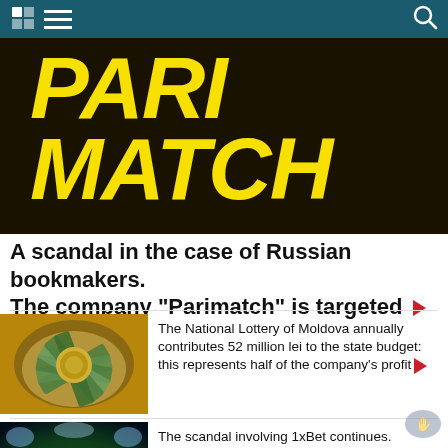Navigation bar with grid icon, menu icon, and search icon
[Figure (logo): Parimatch logo — bold yellow italic text 'PARI MATCH' on dark brown/black background]
A scandal in the case of Russian bookmakers. The company "Parimatch" is targeted ▶
[Figure (photo): Photo of money fan arranged in a circle on a dark background — National Lottery story thumbnail]
The National Lottery of Moldova annually contributes 52 million lei to the state budget: this represents half of the company's profit ▶
[Figure (logo): 1xBet logo on a football stadium background with bright lights]
The scandal involving 1xBet continues. Investigative journalists claim that the gambling operator is an FSB agent ▶